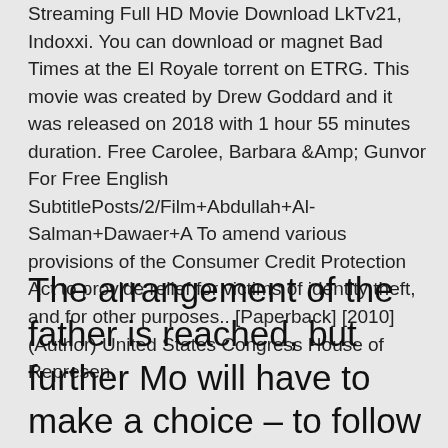Streaming Full HD Movie Download LkTv21, Indoxxi. You can download or magnet Bad Times at the El Royale torrent on ETRG. This movie was created by Drew Goddard and it was released on 2018 with 1 hour 55 minutes duration. Free Carolee, Barbara &Amp; Gunvor For Free English SubtitlePosts/2/Film+Abdullah+Al-Salman+Dawaer+A To amend various provisions of the Consumer Credit Protection Act to provide relief for victims of identity theft, and for other purposes.. [Paperback] [2010] (Author) United States Congress House of Represen
The arrangement of the father is reached, but further Mo will have to make a choice – to follow together with team to flawless victories or to